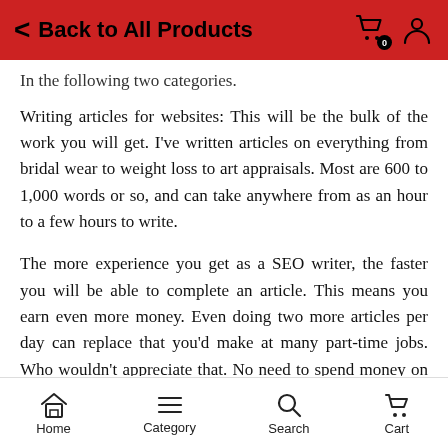Back to All Products
In the following two categories.
Writing articles for websites: This will be the bulk of the work you will get. I've written articles on everything from bridal wear to weight loss to art appraisals. Most are 600 to 1,000 words or so, and can take anywhere from as an hour to a few hours to write.
The more experience you get as a SEO writer, the faster you will be able to complete an article. This means you earn even more money. Even doing two more articles per day can replace that you'd make at many part-time jobs. Who wouldn't appreciate that. No need to spend money on gas, being tired fighting traffic, etc. You can work from home and
Home  Category  Search  Cart